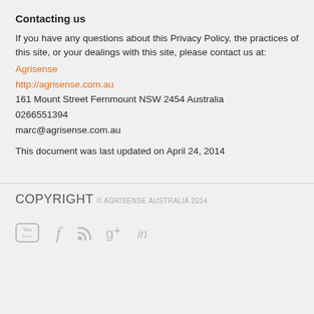Contacting us
If you have any questions about this Privacy Policy, the practices of this site, or your dealings with this site, please contact us at:
Agrisense
http://agrisense.com.au
161 Mount Street Fernmount NSW 2454 Australia
0266551394
marc@agrisense.com.au
This document was last updated on April 24, 2014
COPYRIGHT
© AGRISENSE AUSTRALIA 2014
[Figure (infographic): Social media icons row: YouTube, Facebook, RSS feed, Google+, LinkedIn]